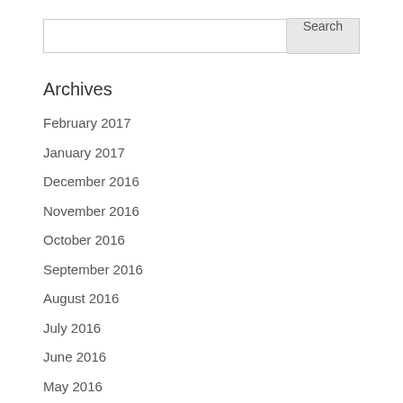Archives
February 2017
January 2017
December 2016
November 2016
October 2016
September 2016
August 2016
July 2016
June 2016
May 2016
April 2016
March 2016
February 2016